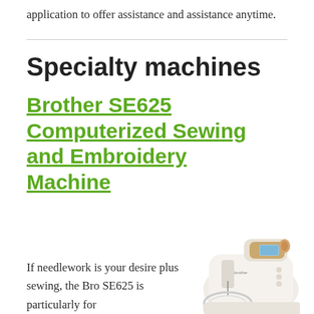application to offer assistance and assistance anytime.
Specialty machines
Brother SE625 Computerized Sewing and Embroidery Machine
If needlework is your desire plus sewing, the Bro SE625 is particularly for
[Figure (photo): Brother SE625 Computerized Sewing and Embroidery Machine, white and gold colored sewing machine with embroidery hoop attachment]